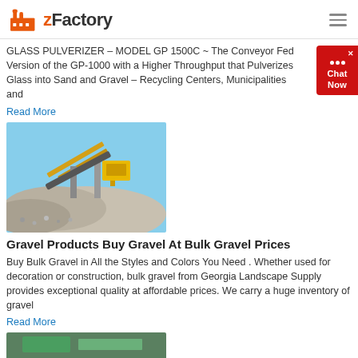zFactory
GLASS PULVERIZER – MODEL GP 1500C ~ The Conveyor Fed Version of the GP-1000 with a Higher Throughput that Pulverizes Glass into Sand and Gravel – Recycling Centers, Municipalities and
Read More
[Figure (photo): Industrial gravel/aggregate processing machinery with conveyor belts and large piles of crushed gravel/sand under a blue sky]
Gravel Products Buy Gravel At Bulk Gravel Prices
Buy Bulk Gravel in All the Styles and Colors You Need . Whether used for decoration or construction, bulk gravel from Georgia Landscape Supply provides exceptional quality at affordable prices. We carry a huge inventory of gravel
Read More
[Figure (photo): Partial view of another product or gravel image at the bottom of the page]